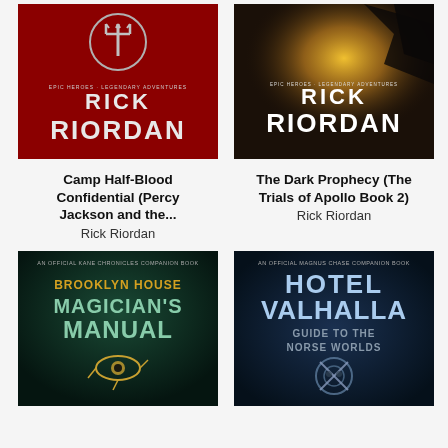[Figure (illustration): Book cover: Camp Half-Blood Confidential (Percy Jackson and the...) by Rick Riordan - red background with trident symbol]
Camp Half-Blood Confidential (Percy Jackson and the...
Rick Riordan
[Figure (illustration): Book cover: The Dark Prophecy (The Trials of Apollo Book 2) by Rick Riordan - dark dramatic sky with golden light]
The Dark Prophecy (The Trials of Apollo Book 2)
Rick Riordan
[Figure (illustration): Book cover: Brooklyn House Magician's Manual - An Official Kane Chronicles Companion Book, dark teal with Eye of Horus]
[Figure (illustration): Book cover: Hotel Valhalla Guide to the Norse Worlds - An Official Magnus Chase Companion Book, blue with shield]